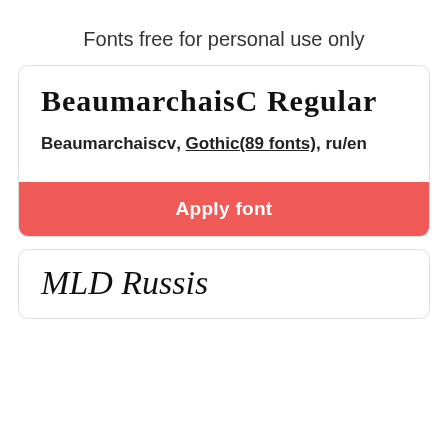Fonts free for personal use only
[Figure (screenshot): Font card showing BeaumarchaisC Regular font preview in gothic/blackletter style, with metadata 'Beaumarchaiscv, Gothic(89 fonts), ru/en' and a red 'Apply font' button]
[Figure (screenshot): Second font card showing 'MLD Russis' font preview in handwriting/cursive style]